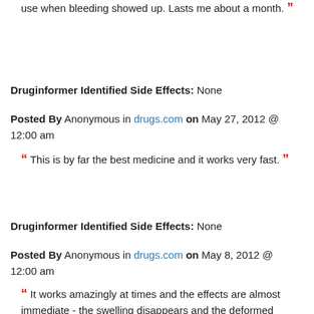use when bleeding showed up. Lasts me about a month. ”
Druginformer Identified Side Effects: None
Posted By Anonymous in drugs.com on May 27, 2012 @ 12:00 am
“ This is by far the best medicine and it works very fast. ”
Druginformer Identified Side Effects: None
Posted By Anonymous in drugs.com on May 8, 2012 @ 12:00 am
“ It works amazingly at times and the effects are almost immediate - the swelling disappears and the deformed mass of swollen veins around